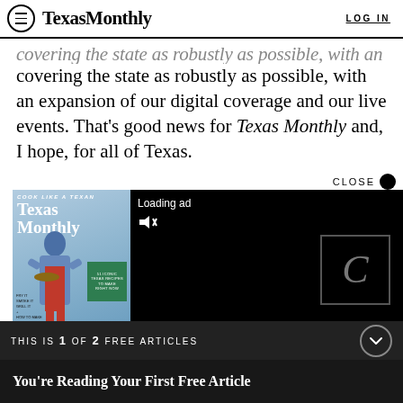TexasMonthly   LOG IN
covering the state as robustly as possible, with an expansion of our digital coverage and our live events. That's good news for Texas Monthly and, I hope, for all of Texas.
[Figure (screenshot): Texas Monthly magazine cover showing 'Cook Like a Texan' issue with chef in red apron, alongside a black video ad panel showing 'Loading ad' with mute icon and a loading circle]
THIS IS 1 OF 2 FREE ARTICLES
You're Reading Your First Free Article